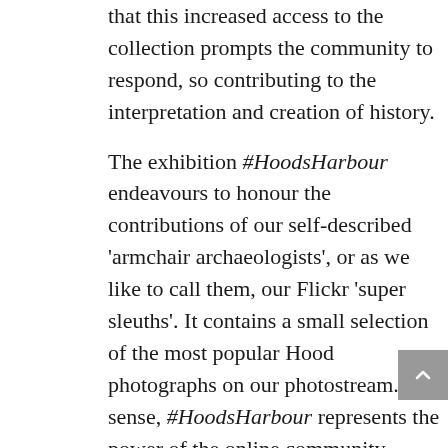that this increased access to the collection prompts the community to respond, so contributing to the interpretation and creation of history.
The exhibition #HoodsHarbour endeavours to honour the contributions of our self-described 'armchair archaeologists', or as we like to call them, our Flickr 'super sleuths'. It contains a small selection of the most popular Hood photographs on our photostream. In a sense, #HoodsHarbour represents the power of the online community members who have returned each day to our feed to comb through the collection and unlock its secrets. Though #HoodsHarbour contains only a handful of